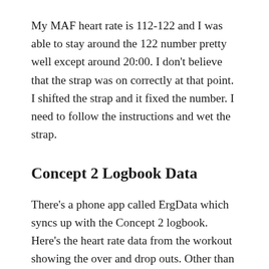My MAF heart rate is 112-122 and I was able to stay around the 122 number pretty well except around 20:00. I don't believe that the strap was on correctly at that point. I shifted the strap and it fixed the number. I  need to follow the instructions and wet the strap.
Concept 2 Logbook Data
There's a phone app called ErgData which syncs up with the Concept 2 logbook. Here's the heart rate data from the workout showing the over and drop outs. Other than the anomalies it was pretty easy to hold the heart rate.